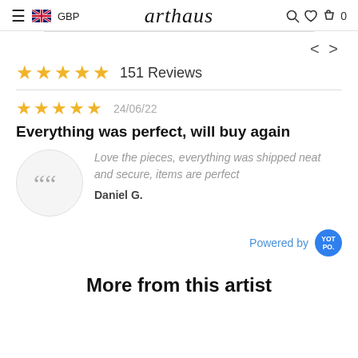≡ 🇬🇧 GBP   arthaus   🔍 ♡ 🛍 0
151 Reviews
24/06/22
Everything was perfect, will buy again
Love the pieces, everything was shipped neat and secure, items are perfect
Daniel G.
Powered by YOT PO.
More from this artist